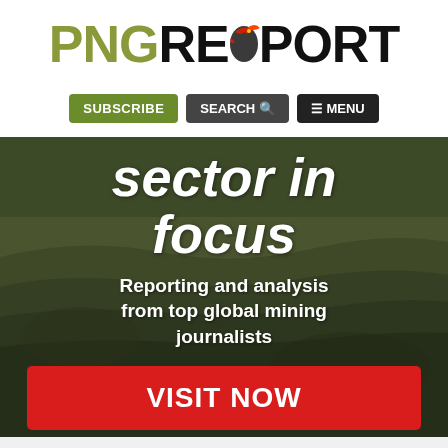[Figure (logo): PNG Report logo with olive-green PNG text, black REPORT text, and a red bird/eagle illustration embedded in the O of REPORT]
[Figure (infographic): Navigation bar with three buttons: SUBSCRIBE (green), SEARCH with magnifier icon (dark gray), and hamburger MENU (black)]
[Figure (photo): Hero banner over a mining open-pit quarry background image in dark olive/green tones with bold white italic text 'sector in focus', subtitle 'Reporting and analysis from top global mining journalists', and a red VISIT NOW button]